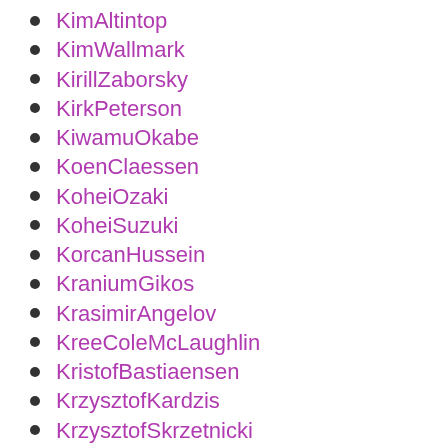KimAltintop
KimWallmark
KirillZaborsky
KirkPeterson
KiwamuOkabe
KoenClaessen
KoheiOzaki
KoheiSuzuki
KorcanHussein
KraniumGikos
KrasimirAngelov
KreeColeMcLaughlin
KristofBastiaensen
KrzysztofKardzis
KrzysztofSkrzetnicki
KwanghoonChoi
KyleCarter
KyleConsalus